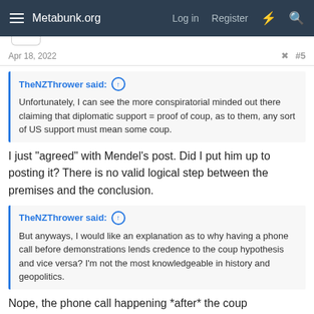Metabunk.org  Log in  Register
Apr 18, 2022  #5
TheNZThrower said: Unfortunately, I can see the more conspiratorial minded out there claiming that diplomatic support = proof of coup, as to them, any sort of US support must mean some coup.
I just "agreed" with Mendel's post. Did I put him up to posting it? There is no valid logical step between the premises and the conclusion.
TheNZThrower said: But anyways, I would like an explanation as to why having a phone call before demonstrations lends credence to the coup hypothesis and vice versa? I'm not the most knowledgeable in history and geopolitics.
Nope, the phone call happening *after* the coup demolishes credence of the claim that this phone call provides any evidence for involvement in the coup. No statement about credence